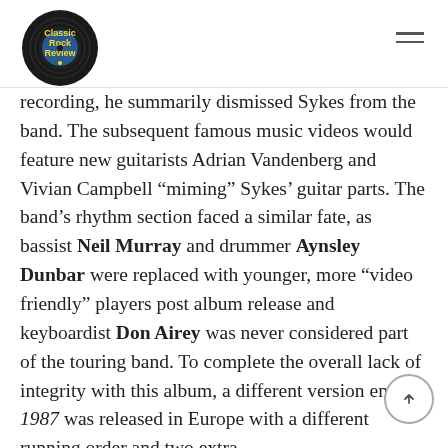Classic Rock Review
recording, he summarily dismissed Sykes from the band. The subsequent famous music videos would feature new guitarists Adrian Vandenberg and Vivian Campbell “miming” Sykes’ guitar parts. The band’s rhythm section faced a similar fate, as bassist Neil Murray and drummer Aynsley Dunbar were replaced with younger, more “video friendly” players post album release and keyboardist Don Airey was never considered part of the touring band. To complete the overall lack of integrity with this album, a different version entitled 1987 was released in Europe with a different running order and two extra